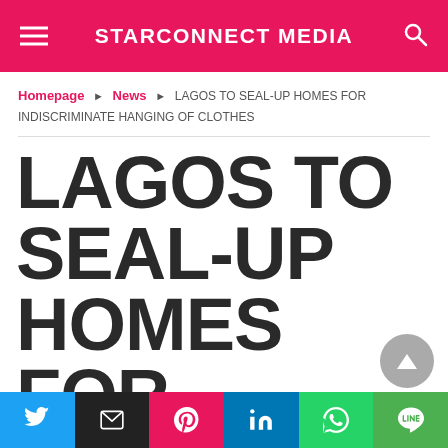STARCONNECT MEDIA
Homepage ▶ News ▶ LAGOS TO SEAL-UP HOMES FOR INDISCRIMINATE HANGING OF CLOTHES
LAGOS TO SEAL-UP HOMES FOR INDISCRIMINATE HANGING OF CLOTHES